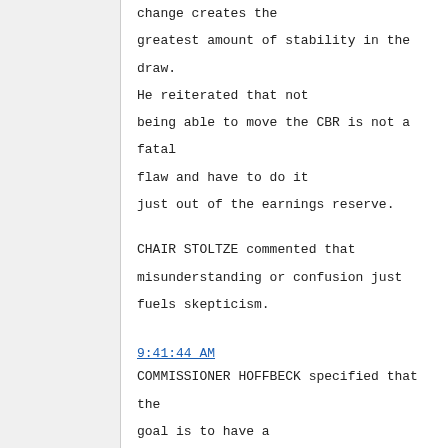change creates the greatest amount of stability in the draw. He reiterated that not being able to move the CBR is not a fatal flaw and have to do it just out of the earnings reserve.
CHAIR STOLTZE commented that misunderstanding or confusion just fuels skepticism.
9:41:44 AM
COMMISSIONER HOFFBECK specified that the goal is to have a rules-based systematic approach for using earnings and not just have a random appropriation on an annual basis to fill a void